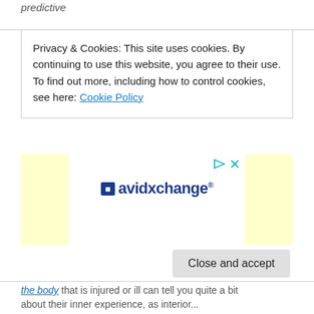predictive
Privacy & Cookies: This site uses cookies. By continuing to use this website, you agree to their use.
To find out more, including how to control cookies, see here: Cookie Policy
[Figure (other): Advertisement banner with avidxchange logo, flanked by two yellow sidebar panels and ad control icons (play and close).]
Close and accept
the body that is injured or ill can tell you quite a bit about their inner experience, as interior...